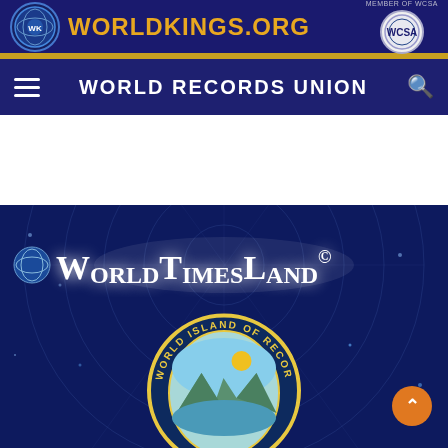WORLDKINGS.ORG — MEMBER OF WCSA
WORLD RECORDS UNION
[Figure (screenshot): WorldTimesLand banner with dark blue background, globe-integrated logo text reading WorldTimesLand©, decorative concentric circle patterns, and a circular emblem partially visible at the bottom reading WORLD ISLAND OF RECORDS with a mountain/landscape scene inside]